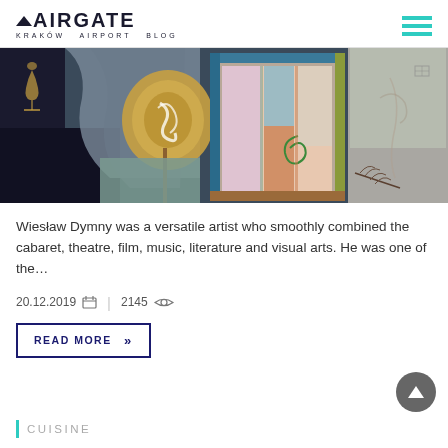AIRGATE KRAKÓW AIRPORT BLOG
[Figure (illustration): Abstract colorful painting with dark background, featuring a circular motif, a framed colorful geometric composition, geometric shapes in blue, green, brown, and pink tones.]
Wiesław Dymny was a versatile artist who smoothly combined the cabaret, theatre, film, music, literature and visual arts. He was one of the…
20.12.2019  |  2145
READ MORE »
CUISINE